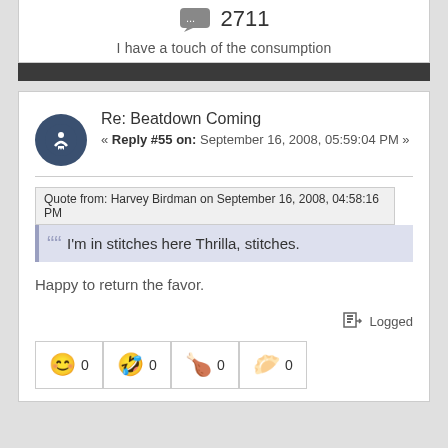2711
I have a touch of the consumption
Re: Beatdown Coming
« Reply #55 on: September 16, 2008, 05:59:04 PM »
Quote from: Harvey Birdman on September 16, 2008, 04:58:16 PM
I'm in stitches here Thrilla, stitches.
Happy to return the favor.
Logged
0 0 0 0